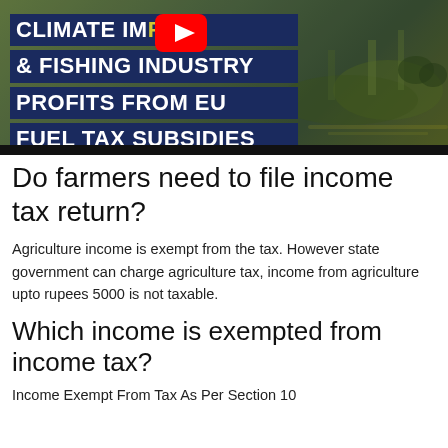[Figure (illustration): YouTube thumbnail image with dark teal/green background showing fishing boats, with bold white text on dark blue background reading 'CLIMATE IMP... & FISHING INDUSTRY PROFITS FROM EU FUEL TAX SUBSIDIES' and a YouTube play button logo partially visible.]
Do farmers need to file income tax return?
Agriculture income is exempt from the tax. However state government can charge agriculture tax, income from agriculture upto rupees 5000 is not taxable.
Which income is exempted from income tax?
Income Exempt From Tax As Per Section 10